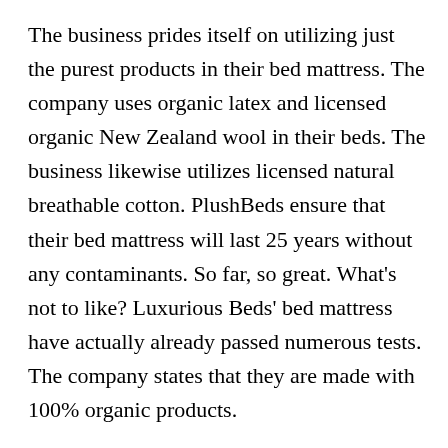The business prides itself on utilizing just the purest products in their bed mattress. The company uses organic latex and licensed organic New Zealand wool in their beds. The business likewise utilizes licensed natural breathable cotton. PlushBeds ensure that their bed mattress will last 25 years without any contaminants. So far, so great. What's not to like? Luxurious Beds' bed mattress have actually already passed numerous tests. The company states that they are made with 100% organic products.
(partial line continues below)